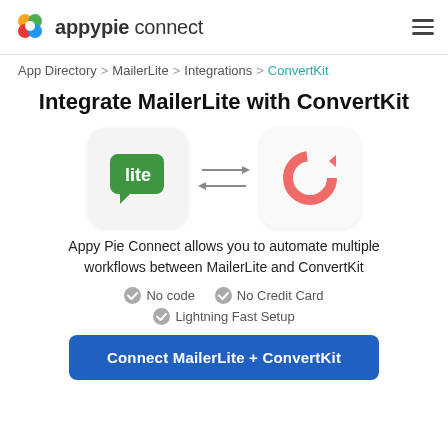appypie connect
App Directory > MailerLite > Integrations > ConvertKit
Integrate MailerLite with ConvertKit
[Figure (illustration): MailerLite logo (green speech bubble with 'lite') and ConvertKit logo (red circular arrow), connected by bidirectional arrows]
Appy Pie Connect allows you to automate multiple workflows between MailerLite and ConvertKit
No code
No Credit Card
Lightning Fast Setup
Connect MailerLite + ConvertKit